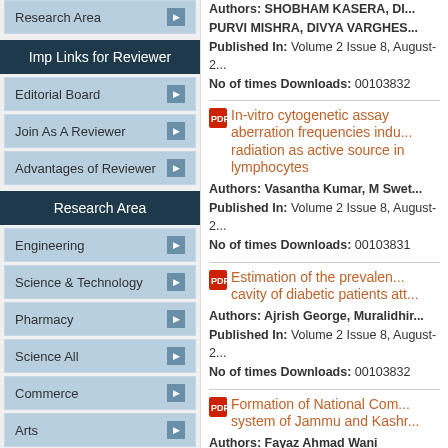Research Area
Imp Links for Reviewer
Editorial Board
Join As A Reviewer
Advantages of Reviewer
Research Area
Engineering
Science & Technology
Pharmacy
Science All
Commerce
Arts
Authors: SHOBHAM KASERA, DI... PURVI MISHRA, DIVYA VARGHES... Published In: Volume 2 Issue 8, August-2... No of times Downloads: 00103832
In-vitro cytogenetic assay aberration frequencies indu... radiation as active source in lymphocytes Authors: Vasantha Kumar, M Swet... Published In: Volume 2 Issue 8, August-2... No of times Downloads: 00103831
Estimation of the prevalen... cavity of diabetic patients att... Authors: Ajrish George, Muralidhir... Published In: Volume 2 Issue 8, August-2... No of times Downloads: 00103832
Formation of National Com... system of Jammu and Kashr... Authors: Fayaz Ahmad Wani Published In: Volume 2 Issue 8, August-2... No of times Downloads: 00103833